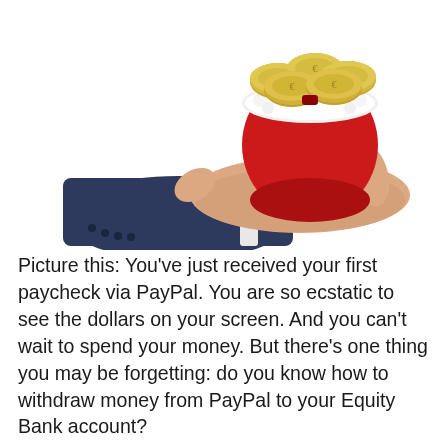[Figure (photo): A hand in a dark suit sleeve holding a red Christmas gift bag filled with gold coins, on a white background.]
Picture this: You've just received your first paycheck via PayPal. You are so ecstatic to see the dollars on your screen. And you can't wait to spend your money. But there's one thing you may be forgetting: do you know how to withdraw money from PayPal to your Equity Bank account?